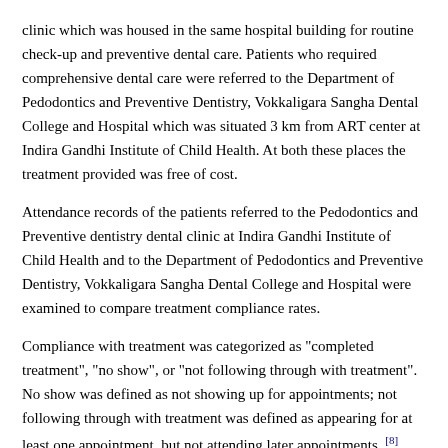clinic which was housed in the same hospital building for routine check-up and preventive dental care. Patients who required comprehensive dental care were referred to the Department of Pedodontics and Preventive Dentistry, Vokkaligara Sangha Dental College and Hospital which was situated 3 km from ART center at Indira Gandhi Institute of Child Health. At both these places the treatment provided was free of cost.
Attendance records of the patients referred to the Pedodontics and Preventive dentistry dental clinic at Indira Gandhi Institute of Child Health and to the Department of Pedodontics and Preventive Dentistry, Vokkaligara Sangha Dental College and Hospital were examined to compare treatment compliance rates.
Compliance with treatment was categorized as "completed treatment", "no show", or "not following through with treatment". No show was defined as not showing up for appointments; not following through with treatment was defined as appearing for at least one appointment, but not attending later appointments. [8]
Dental needs of these patients were predominantly dental decay, gingival and oral lesions. Dental records were documented for over a period of 1 year from the time of their first screening.